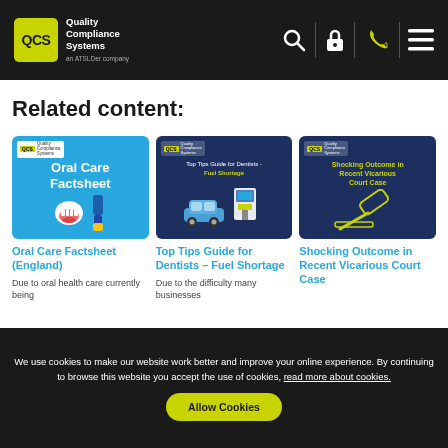QCS Quality Compliance Systems - navigation header
Related content:
[Figure (illustration): Oral Care Factsheet thumbnail - light blue background with QCS logo, bold white text 'Oral Care Factsheet', illustration of open mouth and dental products]
[Figure (illustration): Top Tips Guide for Dentists - Fuel Shortage thumbnail - dark blue background with QCS logo and text, illustration of car at fuel station]
[Figure (illustration): Shocking Outcome in Recent Vicarious Court Case thumbnail - dark navy background with QCS logo, yellow text title, illustration of gavel/judge's hammer]
Oral Care Factsheet (England)
Due to oral health care currently being
Top Tips Guide for Dentists – Fuel Shortage
Due to the difficulty many businesses
Shocking Outcome in Recent Vicarious Court Case
We use cookies to make our website work better and improve your online experience. By continuing to browse this website you accept the use of cookies, read more about cookies. Allow Cookies